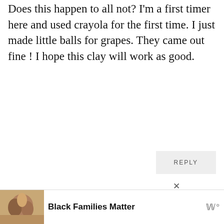Does this happen to all not? I'm a first timer here and used crayola for the first time. I just made little balls for grapes. They came out fine ! I hope this clay will work as good.
REPLY
DELINEATEYOURDWELLING SAYS:
December 25, 2018 at 8:37 pm
Glad to hear your grapes turned well. I love air dry clay and think it's a great product
[Figure (screenshot): Advertisement bar at bottom showing Black Families Matter with photo of smiling family and a media logo]
Black Families Matter